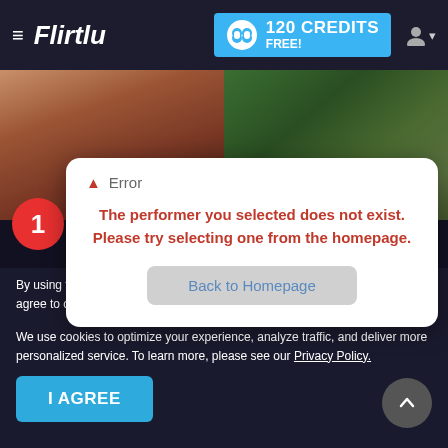≡ Flirtlu | 120 CREDITS FREE!
[Figure (screenshot): Two shirtless male models in background photo strip]
[Figure (infographic): Error modal dialog with red error header, message about performer not existing, and Back to Homepage button]
By using the site, you acknowledge you have read our Privacy Policy, and agree to our Terms and Conditions.
We use cookies to optimize your experience, analyze traffic, and deliver more personalized service. To learn more, please see our Privacy Policy.
I AGREE